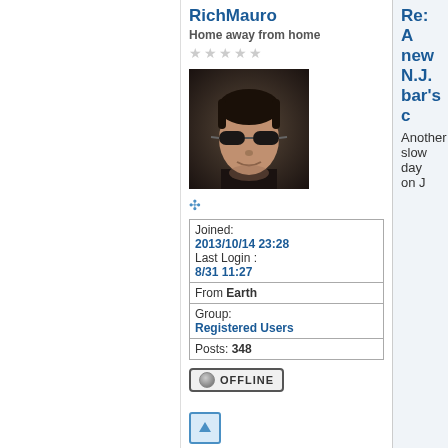RichMauro
Home away from home
[Figure (photo): Avatar photo of a man wearing dark sunglasses, dark clothing, against a dark background (resembling Neo from The Matrix)]
| Joined: | 2013/10/14 23:28 |
| Last Login : | 8/31 11:27 |
| From | Earth |
| Group: | Registered Users |
| Posts: | 348 |
OFFLINE
Re: A new N.J. bar's c
Another slow day on J
On_The_3rd
Home away from home
Re: A new N.J. bar's c
If the dress code for T